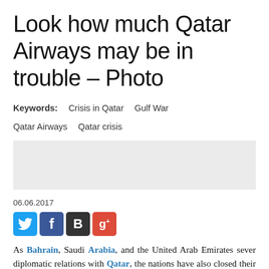Look how much Qatar Airways may be in trouble – Photo
Keywords:   Crisis in Qatar   Gulf War
Qatar Airways   Qatar crisis
[Figure (other): Advertisement placeholder box (light grey rectangle)]
06.06.2017
[Figure (infographic): Social media sharing icons: Twitter (blue bird), Facebook (blue f), Blogger (black B), Google+ (red g+)]
As Bahrain, Saudi Arabia, and the United Arab Emirates sever diplomatic relations with Qatar, the nations have also closed their airspace to its neighbor.